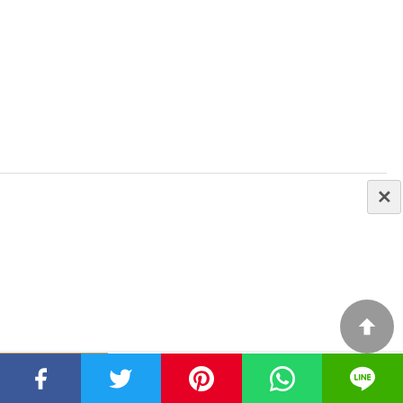[Figure (screenshot): Webpage screenshot with a close (X) button popup overlay in the upper area, mostly white/blank ad space]
[Figure (photo): Food photo thumbnail showing rolled ice cream or crepes on a plate with kiwi fruit, on a wooden board background]
Lick Point @ Karpal Singh Drive
[Figure (infographic): Social media sharing bar with Facebook, Twitter, Pinterest, WhatsApp, and LINE buttons]